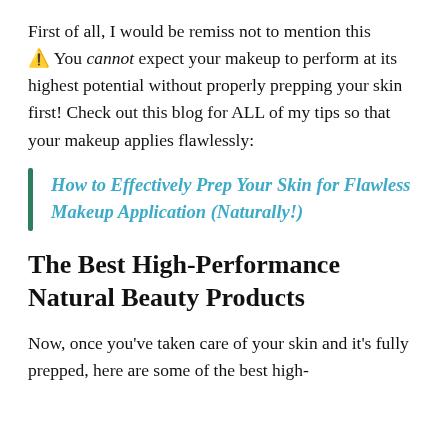First of all, I would be remiss not to mention this ⚠ You cannot expect your makeup to perform at its highest potential without properly prepping your skin first! Check out this blog for ALL of my tips so that your makeup applies flawlessly:
How to Effectively Prep Your Skin for Flawless Makeup Application (Naturally!)
The Best High-Performance Natural Beauty Products
Now, once you've taken care of your skin and it's fully prepped, here are some of the best high-